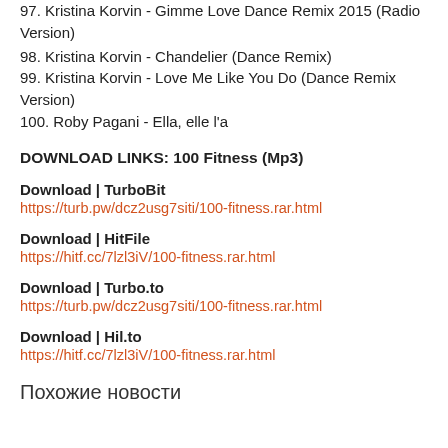97. Kristina Korvin - Gimme Love Dance Remix 2015 (Radio Version)
98. Kristina Korvin - Chandelier (Dance Remix)
99. Kristina Korvin - Love Me Like You Do (Dance Remix Version)
100. Roby Pagani - Ella, elle l'a
DOWNLOAD LINKS: 100 Fitness (Mp3)
Download | TurboBit
https://turb.pw/dcz2usg7siti/100-fitness.rar.html
Download | HitFile
https://hitf.cc/7lzl3iV/100-fitness.rar.html
Download | Turbo.to
https://turb.pw/dcz2usg7siti/100-fitness.rar.html
Download | Hil.to
https://hitf.cc/7lzl3iV/100-fitness.rar.html
Похожие новости